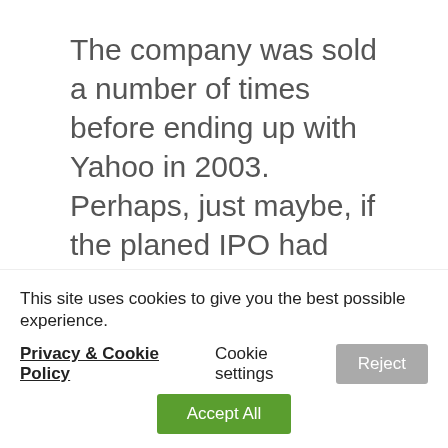The company was sold a number of times before ending up with Yahoo in 2003. Perhaps, just maybe, if the planed IPO had gone ahead and not been scuppered by the dotcom boom, we'd be including their name in the recent NSA murkiness with the giants of today such as...
This site uses cookies to give you the best possible experience.
Privacy & Cookie Policy Cookie settings Reject
Accept All